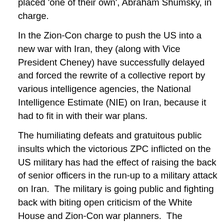placed 'one of their own', Abraham Shumsky, in charge.
In the Zion-Con charge to push the US into a new war with Iran, they (along with Vice President Cheney) have successfully delayed and forced the rewrite of a collective report by various intelligence agencies, the National Intelligence Estimate (NIE) on Iran, because it had to fit in with their war plans.
The humiliating defeats and gratuitous public insults which the victorious ZPC inflicted on the US military has had the effect of raising the back of senior officers in the run-up to a military attack on Iran.  The military is going public and fighting back with biting open criticism of the White House and Zion-Con war planners.  The underlying deep and widespread hostility of the high-ranking military officials has nothing to do with Zion-Con charges of ‘anti-Semitism’